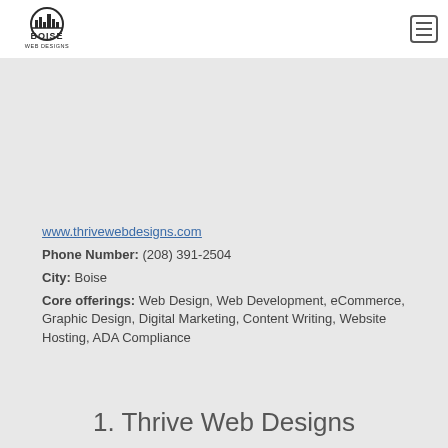[Figure (logo): Boise Web Designs logo — circular arch/skyline illustration above bold text 'BOISE WEB DESIGNS']
www.thrivewebdesigns.com
Phone Number: (208) 391-2504
City: Boise
Core offerings: Web Design, Web Development, eCommerce, Graphic Design, Digital Marketing, Content Writing, Website Hosting, ADA Compliance
1. Thrive Web Designs